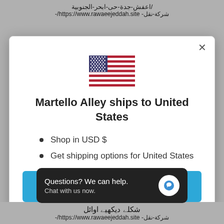/اعفش-جدة-حى-ابحر-الجنوبية
شركة-نقل- https://www.rawaeejeddah.site/-
[Figure (screenshot): Modal dialog showing US flag and shipping info for Martello Alley with Shop now button]
Martello Alley ships to United States
Shop in USD $
Get shipping options for United States
Shop now
Questions? We can help.
Chat with us now.
شركة-نقل- https://www.rawaeejeddah.site/-